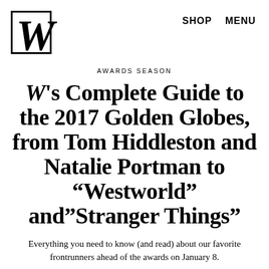W  SHOP  MENU
AWARDS SEASON
W's Complete Guide to the 2017 Golden Globes, from Tom Hiddleston and Natalie Portman to “Westworld” and”Stranger Things”
Everything you need to know (and read) about our favorite frontrunners ahead of the awards on January 8.
by Stephanie Eckardt
12.12.16